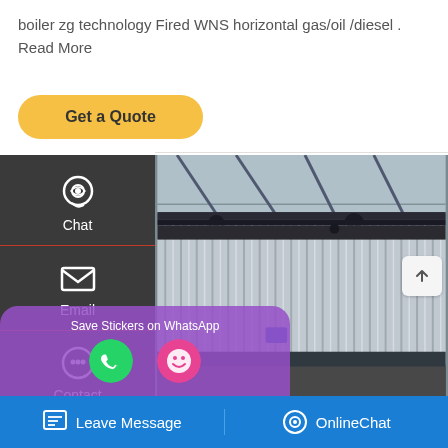boiler zg technology Fired WNS horizontal gas/oil /diesel . Read More
Get a Quote
[Figure (screenshot): Website screenshot showing a dark sidebar with Chat, Email, Contact icons, a photo of an industrial boiler/factory building with corrugated metal walls, a WhatsApp sticker overlay, and a blue bottom bar with Leave Message and OnlineChat options.]
Chat
Email
Contact
Save Stickers on WhatsApp
Leave Message
OnlineChat